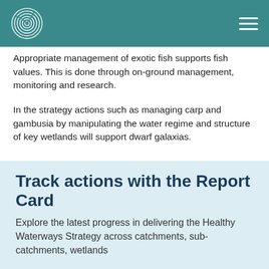Appropriate management of exotic fish supports fish values. This is done through on-ground management, monitoring and research.
In the strategy actions such as managing carp and gambusia by manipulating the water regime and structure of key wetlands will support dwarf galaxias.
Track actions with the Report Card
Explore the latest progress in delivering the Healthy Waterways Strategy across catchments, sub-catchments, wetlands